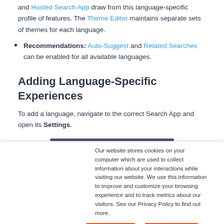and Hosted Search App draw from this language-specific profile of features. The Theme Editor maintains separate sets of themes for each language.
Recommendations: Auto-Suggest and Related Searches can be enabled for all available languages.
Adding Language-Specific Experiences
To add a language, navigate to the correct Search App and open its Settings.
Our website stores cookies on your computer which are used to collect information about your interactions while visiting our website. We use this information to improve and customize your browsing experience and to track metrics about our visitors. See our Privacy Policy to find out more.